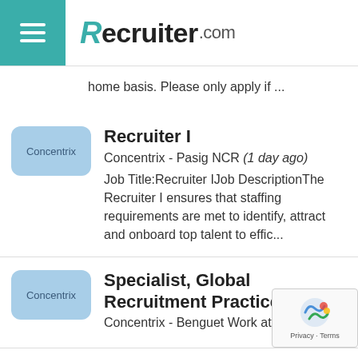Recruiter.com
home basis. Please only apply if ...
Recruiter I - Concentrix - Pasig NCR (1 day ago) - Job Title:Recruiter IJob DescriptionThe Recruiter I ensures that staffing requirements are met to identify, attract and onboard top talent to effic...
Specialist, Global Recruitment Practice - Concentrix - Benguet Work at Home (1...